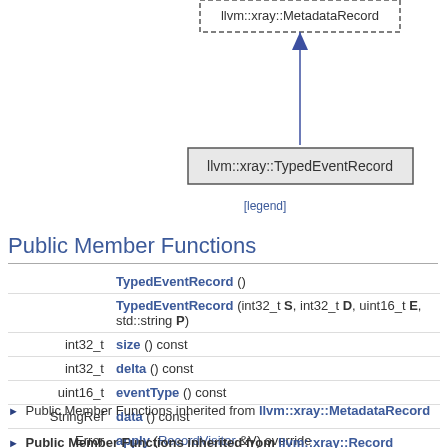[Figure (engineering-diagram): UML inheritance diagram showing llvm::xray::MetadataRecord (top, partial, dashed box) with arrow pointing down to llvm::xray::TypedEventRecord (bottom, solid gray box). Arrow is a filled blue triangle arrowhead indicating inheritance.]
[legend]
Public Member Functions
|  |  |
| --- | --- |
|  | TypedEventRecord () |
|  | TypedEventRecord (int32_t S, int32_t D, uint16_t E, std::string P) |
| int32_t | size () const |
| int32_t | delta () const |
| uint16_t | eventType () const |
| StringRef | data () const |
| Error | apply (RecordVisitor &V) override |
Public Member Functions inherited from llvm::xray::MetadataRecord
Public Member Functions inherited from llvm::xray::Record